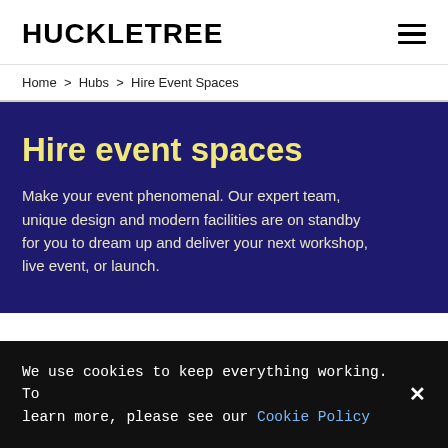HUCKLETREE
Home > Hubs > Hire Event Spaces
Hire event spaces
Make your event phenomenal. Our expert team, unique design and modern facilities are on standby for you to dream up and deliver your next workshop, live event, or launch.
We use cookies to keep everything working. To learn more, please see our Cookie Policy